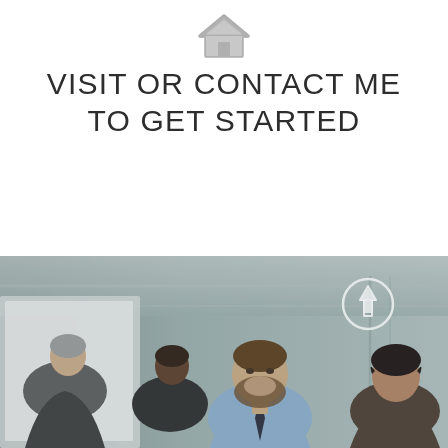[Figure (illustration): Small gray house/home icon at the top center of the page]
VISIT OR CONTACT ME TO GET STARTED
[Figure (photo): Business meeting photo showing a group of professionals smiling and engaging in discussion, with a man in a light blue shirt and tie at center, in an industrial or office setting. A white circle with an upward arrow icon is overlaid in the upper right area of the photo.]